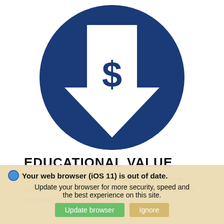[Figure (illustration): Dark blue circle icon with a white downward-pointing arrow containing a dollar sign ($) symbol, representing lower cost / educational value]
EDUCATIONAL VALUE
Tuition costs for baccalaureate degrees at Bellevue College are significantly lower than other 4-year degree programs at state universities.
Your web browser (iOS 11) is out of date. Update your browser for more security, speed and the best experience on this site.